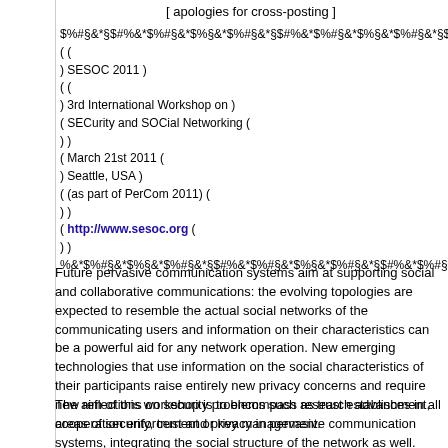[ apologies for cross-posting ]
$%#§&*§$#%&*$%#§&*$%§&*$%#§&*§$#%&*$%#§&*$%§&*$%#§&*§$#
( (
) SESOC 2011 )
( (
) 3rd International Workshop on )
( SECurity and SOCial Networking (
) )
( March 21st 2011 (
) Seattle, USA )
( (as part of PerCom 2011) (
) )
( http://www.sesoc.org (
) )
%&*$%#§&*$%§&*$%#§&*§$#%&*$%#§&*$%§&*$%#§&*§$#%&*$%#§&
Future pervasive communication systems aim at supporting social and collaborative communications: the evolving topologies are expected to resemble the actual social networks of the communicating users and information on their characteristics can be a powerful aid for any network operation. New emerging technologies that use information on the social characteristics of their participants raise entirely new privacy concerns and require new reflections on security problems such as trust establishment, cooperation enforcement or key management.
The aim of this workshop is to encompass research advances in all areas of security, trust and privacy in pervasive communication systems, integrating the social structure of the network as well.